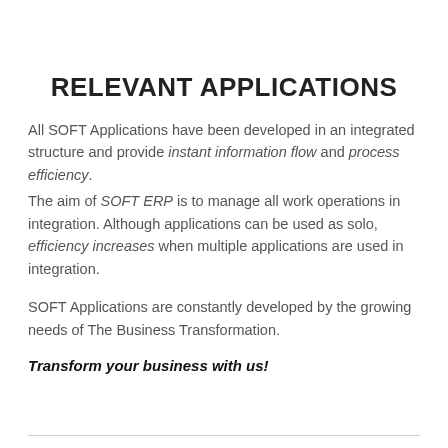RELEVANT APPLICATIONS
All SOFT Applications have been developed in an integrated structure and provide instant information flow and process efficiency.
The aim of SOFT ERP is to manage all work operations in integration. Although applications can be used as solo, efficiency increases when multiple applications are used in integration.
SOFT Applications are constantly developed by the growing needs of The Business Transformation.
Transform your business with us!